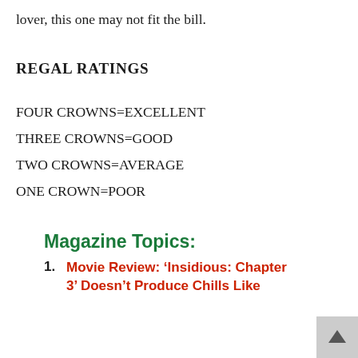lover, this one may not fit the bill.
REGAL RATINGS
FOUR CROWNS=EXCELLENT
THREE CROWNS=GOOD
TWO CROWNS=AVERAGE
ONE CROWN=POOR
Magazine Topics:
Movie Review: ‘Insidious: Chapter 3’ Doesn’t Produce Chills Like